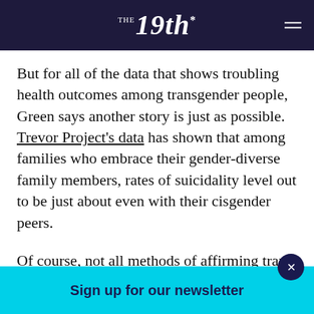THE 19th*
But for all of the data that shows troubling health outcomes among transgender people, Green says another story is just as possible. Trevor Project's data has shown that among families who embrace their gender-diverse family members, rates of suicidality level out to be just about even with their cisgender peers.
Of course, not all methods of affirming trans family members are perfect. That Christmas of 2017, Thate's little sister slipped a “best brother” mug into his stocking. The gesture warmed his heart. “But my older b... [laughin...
Sign up for our newsletter